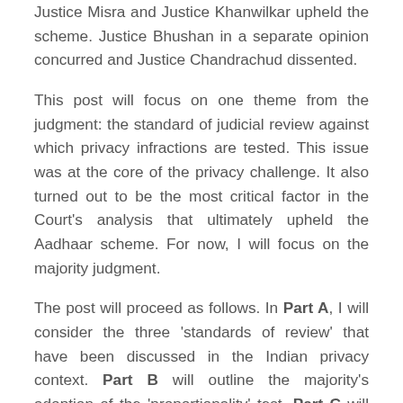Justice Misra and Justice Khanwilkar upheld the scheme. Justice Bhushan in a separate opinion concurred and Justice Chandrachud dissented.
This post will focus on one theme from the judgment: the standard of judicial review against which privacy infractions are tested. This issue was at the core of the privacy challenge. It also turned out to be the most critical factor in the Court's analysis that ultimately upheld the Aadhaar scheme. For now, I will focus on the majority judgment.
The post will proceed as follows. In Part A, I will consider the three 'standards of review' that have been discussed in the Indian privacy context. Part B will outline the majority's adoption of the 'proportionality' test. Part C will examine the Court's application of this test to the Aadhaar card scheme.